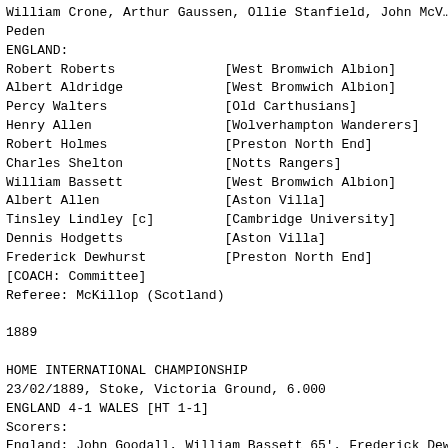William Crone, Arthur Gaussen, Ollie Stanfield, John McV...
Peden
ENGLAND:
Robert Roberts              [West Bromwich Albion]
Albert Aldridge             [West Bromwich Albion]
Percy Walters               [Old Carthusians]
Henry Allen                 [Wolverhampton Wanderers]
Robert Holmes               [Preston North End]
Charles Shelton             [Notts Rangers]
William Bassett             [West Bromwich Albion]
Albert Allen                [Aston Villa]
Tinsley Lindley [c]         [Cambridge University]
Dennis Hodgetts             [Aston Villa]
Frederick Dewhurst          [Preston North End]
[COACH: Committee]
Referee: McKillop (Scotland)
1889
HOME INTERNATIONAL CHAMPIONSHIP
23/02/1889, Stoke, Victoria Ground, 6.000
ENGLAND 4-1 WALES [HT 1-1]
Scorers:
England: John Goodall, William Bassett 65', Frederick Dew...
Wales: William Owen
ENGLAND:
William Moon                [Old Westminsters]
Arthur Walters              [Old Carthusians]
Percy Walters               [Old Carthusians]
Albert Fletcher             [Wolverhampton Wanderers]